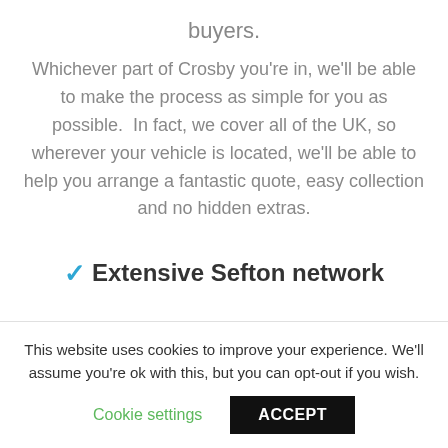buyers.
Whichever part of Crosby you're in, we'll be able to make the process as simple for you as possible.  In fact, we cover all of the UK, so wherever your vehicle is located, we'll be able to help you arrange a fantastic quote, easy collection and no hidden extras.
✔ Extensive Sefton network
This website uses cookies to improve your experience. We'll assume you're ok with this, but you can opt-out if you wish.
Cookie settings   ACCEPT